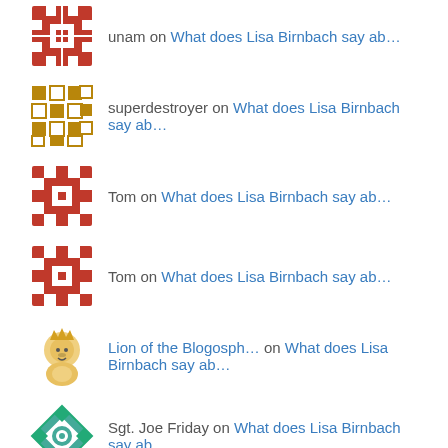unam on What does Lisa Birnbach say ab…
superdestroyer on What does Lisa Birnbach say ab…
Tom on What does Lisa Birnbach say ab…
Tom on What does Lisa Birnbach say ab…
Lion of the Blogosph… on What does Lisa Birnbach say ab…
Sgt. Joe Friday on What does Lisa Birnbach say ab…
ironrailsironweights on What does Lisa Birnbach say ab…
Recent Posts
What does Lisa Birnbach say about preppy cars?
Preppy Cars
What's going on with Manhattan residential real estate?